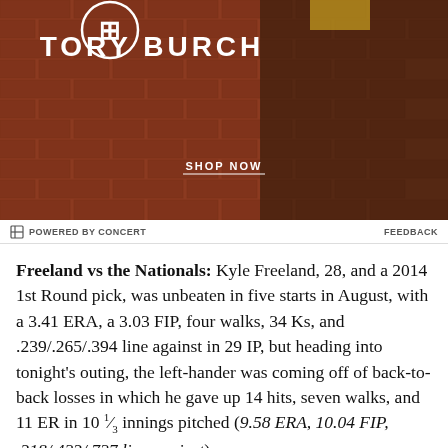[Figure (photo): Tory Burch advertisement banner with brick background, white logo, brand name, and SHOP NOW button]
POWERED BY CONCERT   FEEDBACK
Freeland vs the Nationals: Kyle Freeland, 28, and a 2014 1st Round pick, was unbeaten in five starts in August, with a 3.41 ERA, a 3.03 FIP, four walks, 34 Ks, and .239/.265/.394 line against in 29 IP, but heading into tonight's outing, the left-hander was coming off of back-to-back losses in which he gave up 14 hits, seven walks, and 11 ER in 10 ⅓ innings pitched (9.58 ERA, 10.04 FIP, .318/.423/.727 line against).
“The action on his pitches and the overall stuff is fine,” Black said, as quoted in the Denver Post, after Freeland gave up five hits from poorly and from coming